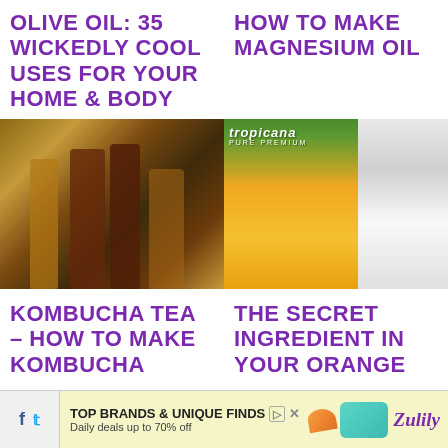OLIVE OIL: 35 WICKEDLY COOL USES FOR YOUR HOME & BODY
HOW TO MAKE MAGNESIUM OIL
[Figure (photo): Several bottles of kombucha tea in amber and dark brown glass bottles on a wooden surface]
[Figure (photo): Glass of orange juice next to a Tropicana Pure Premium orange juice carton]
KOMBUCHA TEA – HOW TO MAKE KOMBUCHA
THE SECRET INGREDIENT IN YOUR ORANGE
TOP BRANDS & UNIQUE FINDS Daily deals up to 70% off  Zulily